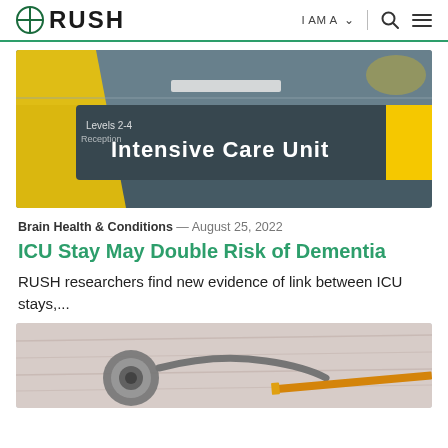RUSH — I AM A ∨ 🔍 ☰
[Figure (photo): Close-up photo of a hospital directional sign reading 'Intensive Care Unit' with yellow accents on a dark teal background]
Brain Health & Conditions — August 25, 2022
ICU Stay May Double Risk of Dementia
RUSH researchers find new evidence of link between ICU stays,...
[Figure (photo): Close-up photo of a stethoscope on a wooden surface with a pencil or pen visible]